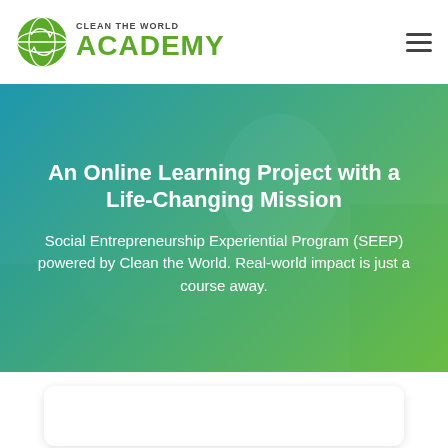[Figure (logo): Clean the World Academy logo with green globe icon and green ACADEMY text]
An Online Learning Project with a Life-Changing Mission
Social Entrepreneurship Experiential Program (SEEP) powered by Clean the World. Real-world impact is just a course away.
[Figure (photo): Background photo of a smiling woman with teal-to-green gradient overlay covering the hero section]